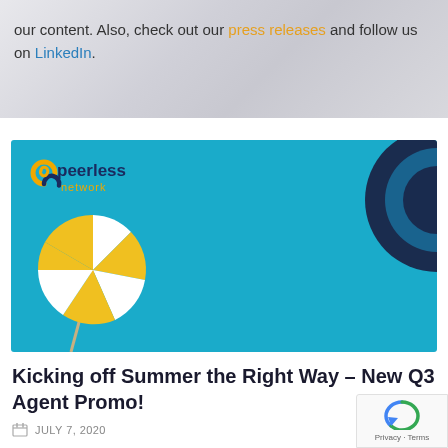our content. Also, check out our press releases and follow us on LinkedIn.
[Figure (illustration): Peerless Network promotional banner with cyan/blue background, beach umbrella graphic bottom left, dark circular graphic top right, and Peerless Network logo top left]
Kicking off Summer the Right Way – New Q3 Agent Promo!
JULY 7, 2020